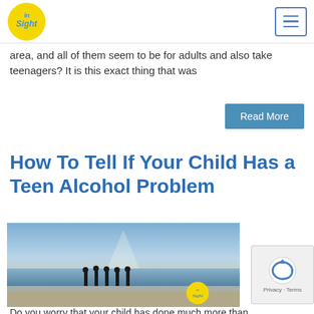InSight logo and navigation menu
area, and all of them seem to be for adults and also take teenagers? It is this exact thing that was
Read More
How To Tell If Your Child Has a Teen Alcohol Problem
[Figure (photo): Silhouettes of teenagers standing on a beach at sunset with an InSight logo watermark]
Do you worry that your child has done much more than